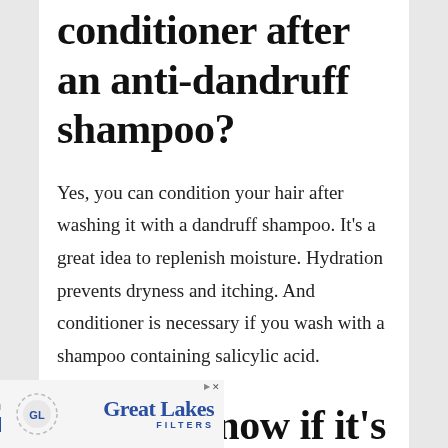Can you use a conditioner after an anti-dandruff shampoo?
Yes, you can condition your hair after washing it with a dandruff shampoo. It's a great idea to replenish moisture. Hydration prevents dryness and itching. And conditioner is necessary if you wash with a shampoo containing salicylic acid.
How to know if it's
[Figure (other): Advertisement banner for Great Lakes Filters — High Quality Air Filtration with a request a quote button and circular logo badge]